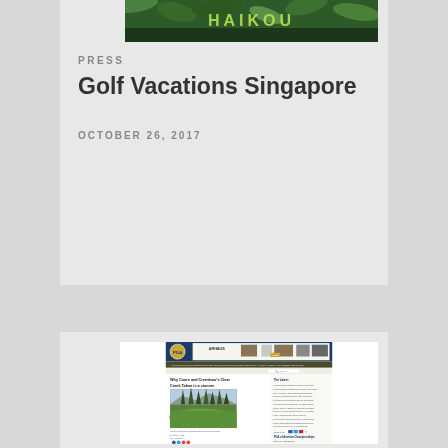[Figure (screenshot): Top banner with green tropical/jungle background and 'HAIKOU' text in stylized gold/green lettering]
PRESS
Golf Vacations Singapore
OCTOBER 26, 2017
[Figure (screenshot): Screenshot of PGA.com website showing article 'Why Coore and Crenshaw's Clear Creek Tahoe is a stunner' with a photo of a golf course surrounded by tall pine trees, plus sidebar 'The Latest' news links and 'PGA of America Championships' section. Header shows PGA logo and ARHAUS advertisement banner.]